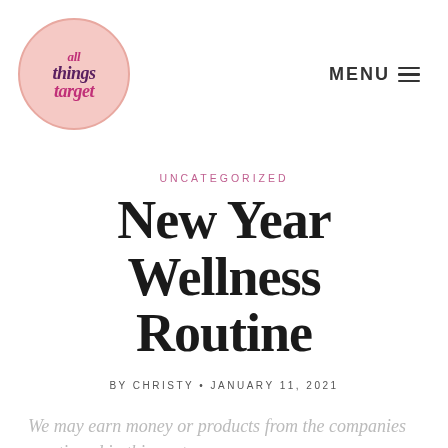[Figure (logo): All Things Target circular logo with pink background, text reads 'all things target' in bold italic serif font in pink and purple colors]
UNCATEGORIZED
New Year Wellness Routine
BY CHRISTY • JANUARY 11, 2021
We may earn money or products from the companies mentioned in this post.